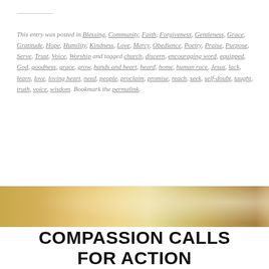This entry was posted in Blessing, Community, Faith, Forgiveness, Gentleness, Grace, Gratitude, Hope, Humility, Kindness, Love, Mercy, Obedience, Poetry, Praise, Purpose, Serve, Trust, Voice, Worship and tagged church, discern, encouraging word, equipped, God, goodness, grace, grow, hands and heart, heard, home, human race, Jesus, lack, learn, love, loving heart, need, people, proclaim, promise, reach, seek, self-doubt, taught, truth, voice, wisdom. Bookmark the permalink.
[Figure (photo): A golden-toned bokeh photo strip showing wheat or grass in warm golden light, used as a decorative banner.]
COMPASSION CALLS FOR ACTION